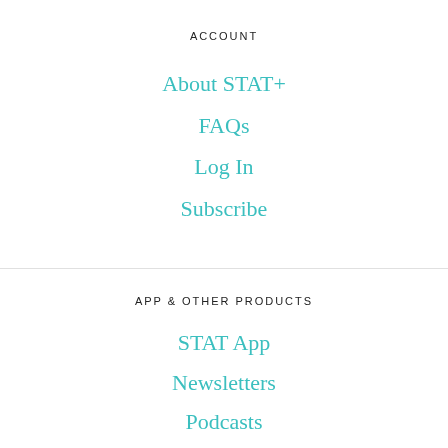ACCOUNT
About STAT+
FAQs
Log In
Subscribe
APP & OTHER PRODUCTS
STAT App
Newsletters
Podcasts
STAT Madness
STAT Reports
STAT Trials Pulse
STAT Watchlist